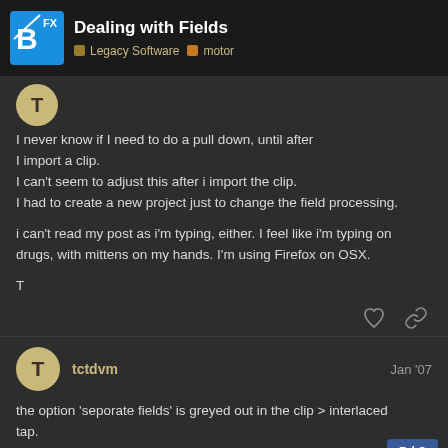Dealing with Fields — Legacy Software, motor
I never know if I need to do a pull down, until after I import a clip.
I can't seem to adjust this after i import the clip.
I had to create a new project just to change the field processing.

i can't read my post as i'm typing, either. I feel like i'm typing on drugs, with mittens on my hands. I'm using Firefox on OSX.

T
tctdvm — Jan '07
the option 'seporate fields' is greyed out in the clip > interlaced tap.
Being able to click on it would be nice.